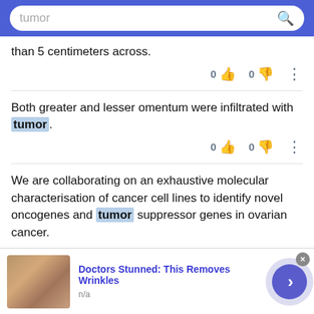tumor [search bar]
than 5 centimeters across.
Both greater and lesser omentum were infiltrated with tumor.
We are collaborating on an exhaustive molecular characterisation of cancer cell lines to identify novel oncogenes and tumor suppressor genes in ovarian cancer.
[Figure (screenshot): Advertisement banner: Doctors Stunned: This Removes Wrinkles, n/a, with skin close-up photo and forward arrow button]